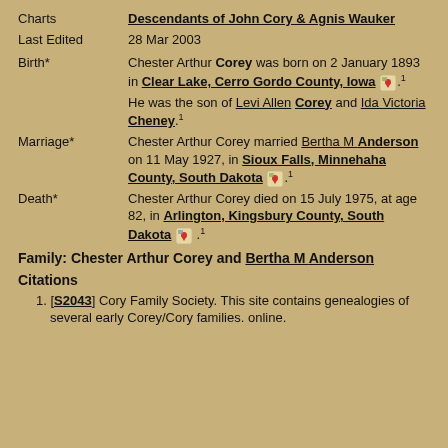Charts: Descendants of John Cory & Agnis Wauker
Last Edited: 28 Mar 2003
Birth*: Chester Arthur Corey was born on 2 January 1893 in Clear Lake, Cerro Gordo County, Iowa. He was the son of Levi Allen Corey and Ida Victoria Cheney.
Marriage*: Chester Arthur Corey married Bertha M Anderson on 11 May 1927, in Sioux Falls, Minnehaha County, South Dakota.
Death*: Chester Arthur Corey died on 15 July 1975, at age 82, in Arlington, Kingsbury County, South Dakota.
Family: Chester Arthur Corey and Bertha M Anderson
Citations
1. [S2043] Cory Family Society. This site contains genealogies of several early Corey/Cory families. online.